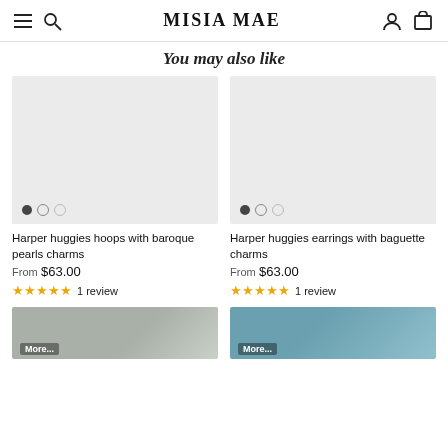Misia Mae
You may also like
[Figure (photo): Product image placeholder for Harper huggies hoops with baroque pearls charms]
Harper huggies hoops with baroque pearls charms
From $63.00
★★★★★ 1 review
[Figure (photo): Product image placeholder for Harper huggies earrings with baguette charms]
Harper huggies earrings with baguette charms
From $63.00
★★★★★ 1 review
[Figure (photo): Bottom left product image (partially visible)]
[Figure (photo): Bottom right product image (partially visible, teal/blue tones)]